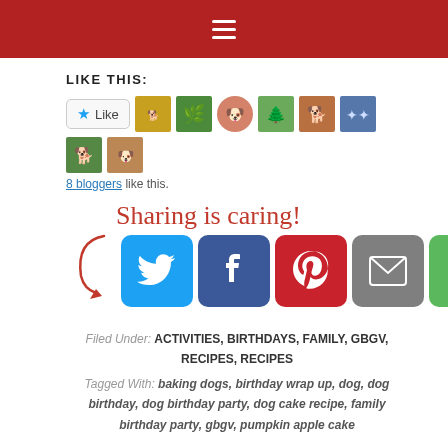Navigation menu bar
LIKE THIS:
[Figure (other): WordPress like button with star icon and 8 blogger avatar thumbnails]
8 bloggers like this.
[Figure (infographic): Sharing is caring! text with arrow and social media icons: Twitter, Facebook, Pinterest, Email, Script]
Filed Under: ACTIVITIES, BIRTHDAYS, FAMILY, GBGV, RECIPES, RECIPES
Tagged With: baking dogs, birthday wrap up, dog, dog birthday, dog birthday party, dog cake recipe, family birthday party, gbgv, pumpkin apple cake